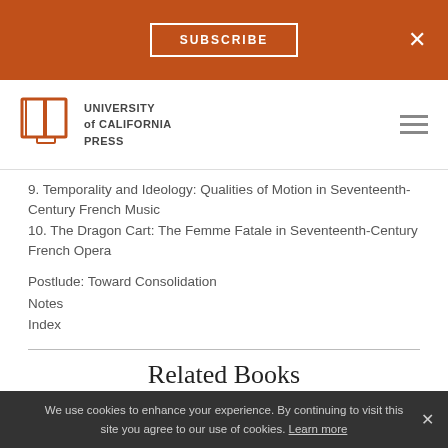[Figure (logo): Subscribe button on orange bar with X close button]
[Figure (logo): University of California Press logo with open book icon and hamburger menu]
9. Temporality and Ideology: Qualities of Motion in Seventeenth-Century French Music
10. The Dragon Cart: The Femme Fatale in Seventeenth-Century French Opera
Postlude: Toward Consolidation
Notes
Index
Related Books
We use cookies to enhance your experience. By continuing to visit this site you agree to our use of cookies. Learn more